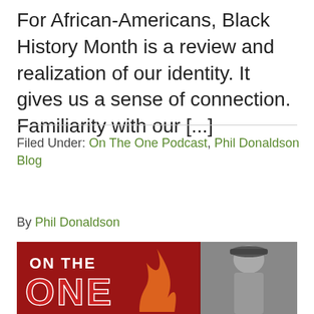For African-Americans, Black History Month is a review and realization of our identity. It gives us a sense of connection. Familiarity with our [...]
Filed Under: On The One Podcast, Phil Donaldson Blog
By Phil Donaldson
[Figure (photo): Podcast artwork showing red background with 'ON THE ONE' text and a flame graphic on the left, and a black-and-white photo of a person wearing a flat cap on the right.]